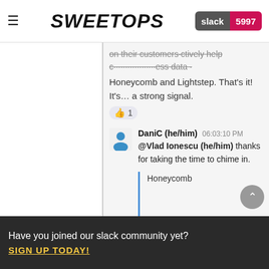SweetOps | slack 5997
Honeycomb and Lightstep. That's it! It's… a strong signal. 👍 1
DaniC (he/him) 06:03:10 PM @Vlad Ionescu (he/him) thanks for taking the time to chime in.
Honeycomb
~do you have any exp with them? I've looked and while it look impressive it doesn't look like i can get the basic infra monitoring out - i.e disk usage/ cpu/ mem of the host (be that K8s or just a vanilla EC2) etc~ith OTEL
Have you joined our slack community yet? SIGN UP TODAY!